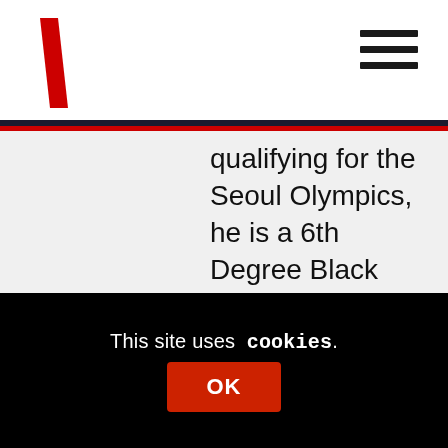[Figure (logo): Red diagonal backslash logo mark in top left corner]
[Figure (other): Hamburger menu icon (three horizontal lines) in top right corner]
qualifying for the Seoul Olympics, he is a 6th Degree Black Belt. My current Judo Coach also competed in the Sambo World Championships, Sambo being the Combat Art of the Russian Military in case you are not familiar with it. In the last month my social media posts have got likes from a Boxing World Champion, a Brazilian Ju-Jitsu World Champion, a former British Judo Youth Olympian and numerous other Black Belt Martial Artists.
This site uses cookies.
OK